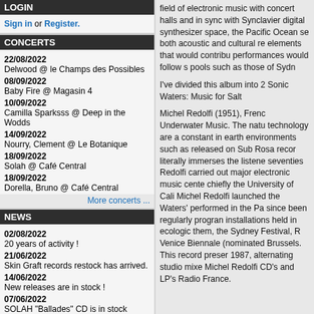LOGIN
Sign in or Register.
CONCERTS
22/08/2022
Delwood @ le Champs des Possibles
08/09/2022
Baby Fire @ Magasin 4
10/09/2022
Camilla Sparksss @ Deep in the Wodds
14/09/2022
Nourry, Clement @ Le Botanique
18/09/2022
Solah @ Café Central
18/09/2022
Dorella, Bruno @ Café Central
More concerts ...
NEWS
02/08/2022
20 years of activity !
21/06/2022
Skin Graft records restock has arrived.
14/06/2022
New releases are in stock !
07/06/2022
SOLAH "Ballades" CD is in stock
More news ...
FEEDBACKS
P... (Belgium)
Tip, discover some more records here.
To...
P... (United Kingdom)
Thank you for great service and help.
field of electronic music with concert halls and in sync with Synclavier digital synthesizer space, the Pacific Ocean se both acoustic and cultural re elements that would contribu performances would follow s pools such as those of Sydn

I've divided this album into 2 Sonic Waters: Music for Salt

Michel Redolfi (1951), Frenc Underwater Music. The natu technology are a constant in earth environments such as released on Sub Rosa recor literally immerses the listene seventies Redolfi carried out major electronic music cente chiefly the University of Cali Michel Redolfi launched the Waters' performed in the Pa since been regularly progran installations held in ecologic them, the Sydney Festival, R Venice Biennale (nominated Brussels. This record preser 1987, alternating studio mixe Michel Redolfi CD's and LP's Radio France.